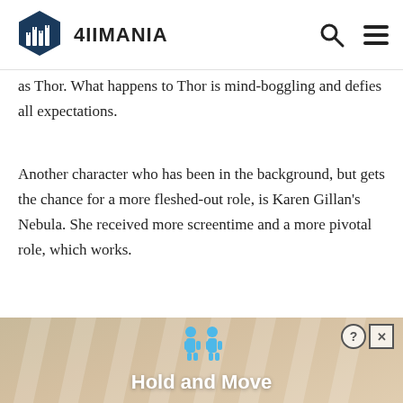4IIMANIA
as Thor. What happens to Thor is mind-boggling and defies all expectations.
Another character who has been in the background, but gets the chance for a more fleshed-out role, is Karen Gillan's Nebula. She received more screentime and a more pivotal role, which works.
[Figure (screenshot): Advertisement banner showing 'Hold and Move' game with blue character figures and help/close buttons]